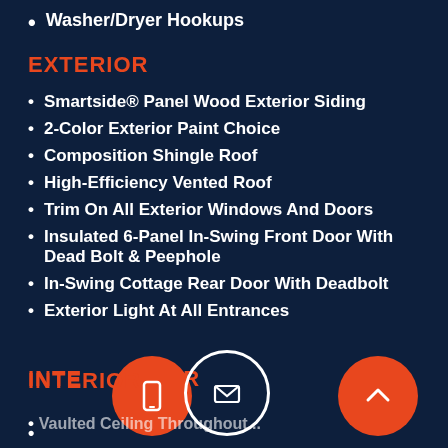Washer/Dryer Hookups
EXTERIOR
Smartside® Panel Wood Exterior Siding
2-Color Exterior Paint Choice
Composition Shingle Roof
High-Efficiency Vented Roof
Trim On All Exterior Windows And Doors
Insulated 6-Panel In-Swing Front Door With Dead Bolt & Peephole
In-Swing Cottage Rear Door With Deadbolt
Exterior Light At All Entrances
INTERIOR